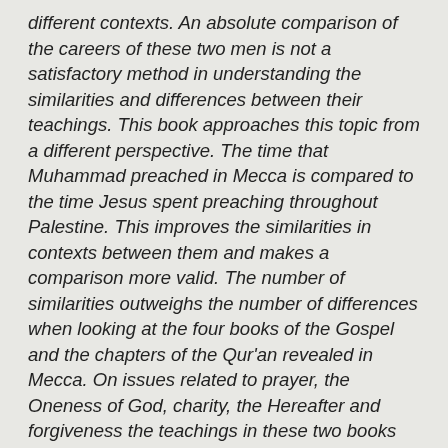different contexts. An absolute comparison of the careers of these two men is not a satisfactory method in understanding the similarities and differences between their teachings. This book approaches this topic from a different perspective. The time that Muhammad preached in Mecca is compared to the time Jesus spent preaching throughout Palestine. This improves the similarities in contexts between them and makes a comparison more valid. The number of similarities outweighs the number of differences when looking at the four books of the Gospel and the chapters of the Qur'an revealed in Mecca. On issues related to prayer, the Oneness of God, charity, the Hereafter and forgiveness the teachings in these two books are practically the same. A number of core theological issues surfaced in the Book of John do clash with Qur'anic teachings about the person of Jesus. These differences and the possible reasons for them are